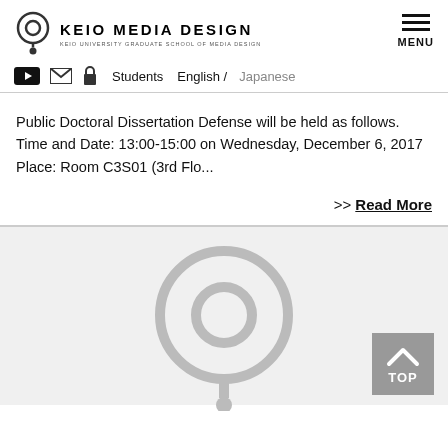KEIO MEDIA DESIGN — KEIO UNIVERSITY GRADUATE SCHOOL OF MEDIA DESIGN
Students  English / Japanese
Public Doctoral Dissertation Defense will be held as follows.
Time and Date: 13:00-15:00 on Wednesday, December 6, 2017
Place: Room C3S01 (3rd Flo...
>> Read More
[Figure (logo): KMD logo large gray watermark at bottom of page]
[Figure (other): TOP button with upward arrow icon, gray background]